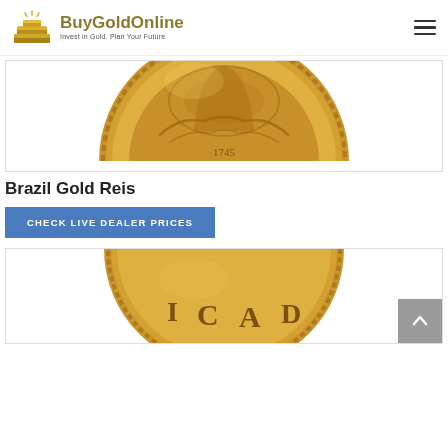BuyGoldOnline — Invest in Gold. Plan Your Future
[Figure (photo): Close-up of a Brazil Gold Reis coin showing ornate engravings and text, partially cropped showing the top half of the coin]
Brazil Gold Reis
CHECK LIVE DEALER PRICES
[Figure (photo): Close-up of another gold coin showing the letters 'CAD' visible along the rim, partially cropped showing the bottom portion of the coin]